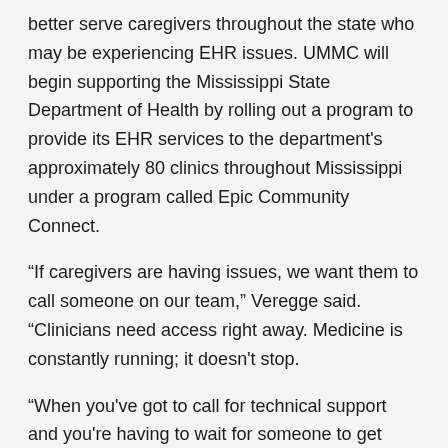better serve caregivers throughout the state who may be experiencing EHR issues. UMMC will begin supporting the Mississippi State Department of Health by rolling out a program to provide its EHR services to the department's approximately 80 clinics throughout Mississippi under a program called Epic Community Connect.
“If caregivers are having issues, we want them to call someone on our team,” Veregge said. “Clinicians need access right away. Medicine is constantly running; it doesn't stop.
“When you've got to call for technical support and you're having to wait for someone to get back to you while a patient is sitting right in front of you or lying in bed in front of you, that's not good customer support.”